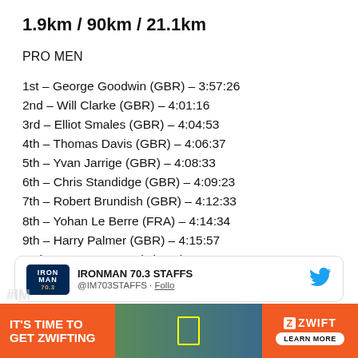1.9km / 90km / 21.1km
PRO MEN
1st – George Goodwin (GBR) – 3:57:26
2nd – Will Clarke (GBR) – 4:01:16
3rd – Elliot Smales (GBR) – 4:04:53
4th – Thomas Davis (GBR) – 4:06:37
5th – Yvan Jarrige (GBR) – 4:08:33
6th – Chris Standidge (GBR) – 4:09:23
7th – Robert Brundish (GBR) – 4:12:33
8th – Yohan Le Berre (FRA) – 4:14:34
9th – Harry Palmer (GBR) – 4:15:57
10th – Bartosz Banach (POL) – 4:18:14
[Figure (screenshot): IRONMAN 70.3 STAFFS Twitter card with logo and handle @IM703STAFFS]
[Figure (infographic): Zwift advertisement banner: IT'S TIME TO GET ZWIFTING with orange background, cycling image, and LEARN MORE button]